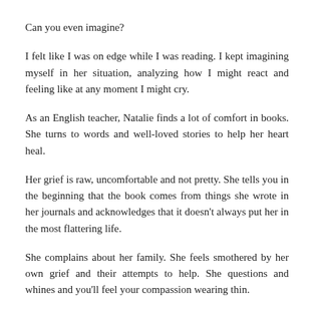Can you even imagine?
I felt like I was on edge while I was reading. I kept imagining myself in her situation, analyzing how I might react and feeling like at any moment I might cry.
As an English teacher, Natalie finds a lot of comfort in books. She turns to words and well-loved stories to help her heart heal.
Her grief is raw, uncomfortable and not pretty. She tells you in the beginning that the book comes from things she wrote in her journals and acknowledges that it doesn't always put her in the most flattering life.
She complains about her family. She feels smothered by her own grief and their attempts to help. She questions and whines and you'll feel your compassion wearing thin.